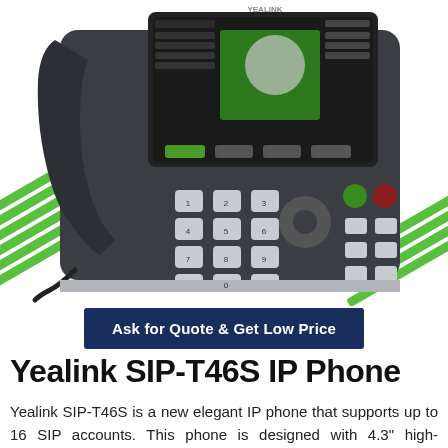[Figure (photo): Yealink SIP-T46S IP Phone product photo showing the front face of the phone with handset, keypad, color display screen, and navigation buttons, set against a white background with green diagonal stripe decorations on left and right sides.]
Ask for Quote & Get Low Price
Yealink SIP-T46S IP Phone
Yealink SIP-T46S is a new elegant IP phone that supports up to 16 SIP accounts. This phone is designed with 4.3" high-resolution TFT color display. With the Yealink Optima